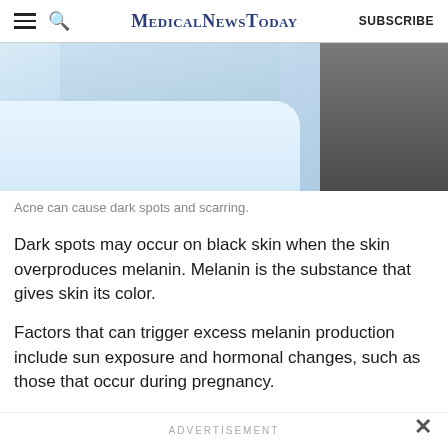MedicalNewsToday | SUBSCRIBE
[Figure (photo): Close-up photo of a person's neck and chin area wearing a white shirt, with a dark wood background on the right side. The image shows skin with possible dark spots related to acne.]
Acne can cause dark spots and scarring.
Dark spots may occur on black skin when the skin overproduces melanin. Melanin is the substance that gives skin its color.
Factors that can trigger excess melanin production include sun exposure and hormonal changes, such as those that occur during pregnancy.
ADVERTISEMENT